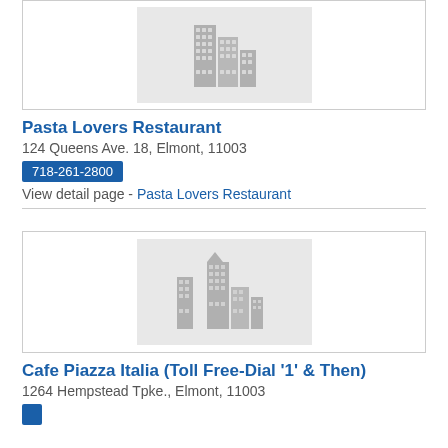[Figure (illustration): Gray placeholder building skyline illustration inside a light gray box with border]
Pasta Lovers Restaurant
124 Queens Ave. 18, Elmont, 11003
718-261-2800
View detail page - Pasta Lovers Restaurant
[Figure (illustration): Gray placeholder building skyline illustration inside a light gray box with border]
Cafe Piazza Italia (Toll Free-Dial '1' & Then)
1264 Hempstead Tpke., Elmont, 11003